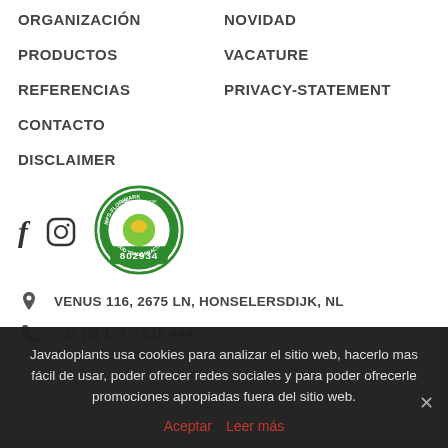ORGANIZACIÓN
NOVIDAD
PRODUCTOS
VACATURE
REFERENCIAS
PRIVACY-STATEMENT
CONTACTO
DISCLAIMER
[Figure (logo): MPS-FLORIMARK Good Trade Practice certification badge with number 802934]
VENUS 116, 2675 LN, HONSELERSDIJK, NL
+31 (0) 174 – 615 444
Javadoplants usa cookies para analizar el sitio web, hacerlo mas fácil de usar, poder ofrecer redes sociales y para poder ofrecerle promociones apropiadas fuera del sitio web.
Aceptar   Leer más